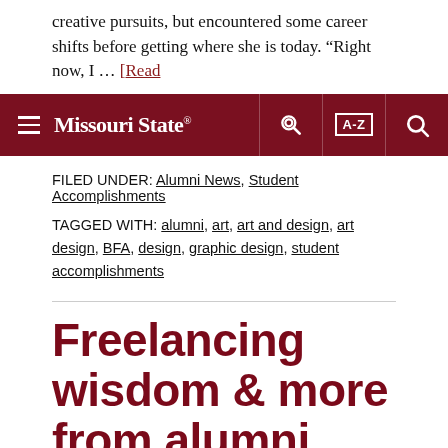creative pursuits, but encountered some career shifts before getting where she is today. “Right now, I … [Read
Missouri State navigation bar with hamburger menu, key icon, A-Z index, and search icon
FILED UNDER: Alumni News, Student Accomplishments
TAGGED WITH: alumni, art, art and design, art design, BFA, design, graphic design, student accomplishments
Freelancing wisdom & more from alumni Batsheba Castro Martinez